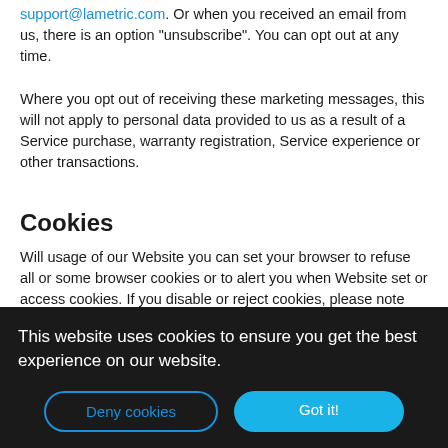support@lametric.com. Or when you received an email from us, there is an option "unsubscribe". You can opt out at any time.
Where you opt out of receiving these marketing messages, this will not apply to personal data provided to us as a result of a Service purchase, warranty registration, Service experience or other transactions.
Cookies
Will usage of our Website you can set your browser to refuse all or some browser cookies or to alert you when Website set or access cookies. If you disable or reject cookies, please note that some parts of this Website may become inaccessible or not function properly. For more information about the cookies we use, please see Cookie Policy.
Change of Purpose
This website uses cookies to ensure you get the best experience on our website.